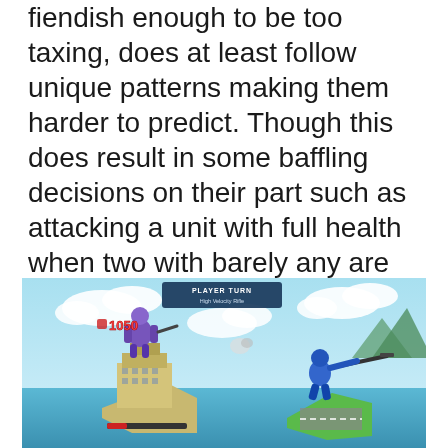fiendish enough to be too taxing, does at least follow unique patterns making them harder to predict. Though this does result in some baffling decisions on their part such as attacking a unit with full health when two with barely any are within range.
[Figure (screenshot): Screenshot of a turn-based strategy game showing 'PLAYER TURN - High Velocity Rifle' banner. On the left, a purple mech/robot unit stands on an isometric city tile with a health bar and damage number 1050. On the right, a blue humanoid unit on a green hexagonal tile aims a sniper rifle. Sky with clouds in background.]